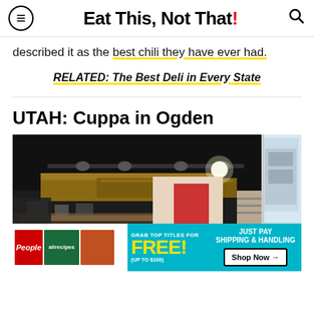Eat This, Not That!
described it as the best chili they have ever had.
RELATED: The Best Deli in Every State
UTAH: Cuppa in Ogden
[Figure (photo): Interior of Cuppa cafe in Ogden, Utah showing wooden beam ceiling, track lighting, dark ceiling, counter area, and large windows with exterior view of historic building]
[Figure (other): Advertisement banner: Grab top titles for FREE! (up to $100) Just pay shipping & handling. Shop Now. Featuring People and allrecipes magazine covers.]